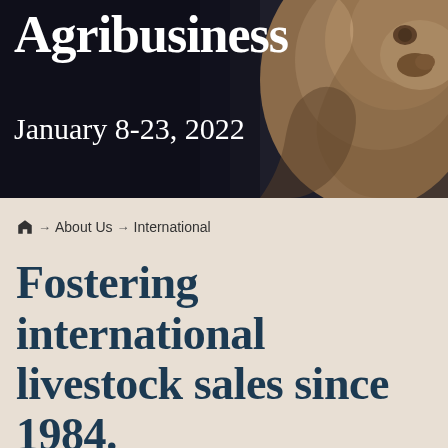[Figure (photo): Close-up photograph of a goat or livestock animal against a dark background, used as hero banner image for an agribusiness publication]
Agribusiness
January 8-23, 2022
🏠 → About Us → International
Fostering international livestock sales since 1984.